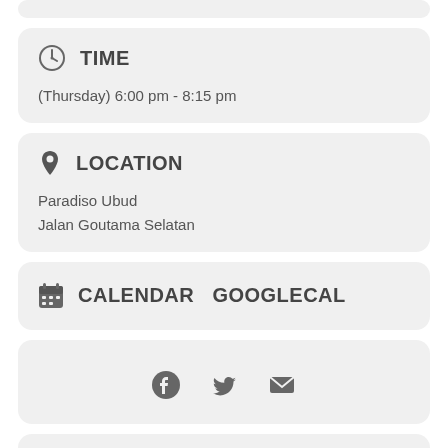TIME
(Thursday) 6:00 pm - 8:15 pm
LOCATION
Paradiso Ubud
Jalan Goutama Selatan
CALENDAR  GOOGLECAL
[Figure (other): Social share icons: Facebook, Twitter, Email]
Type your address to get directions